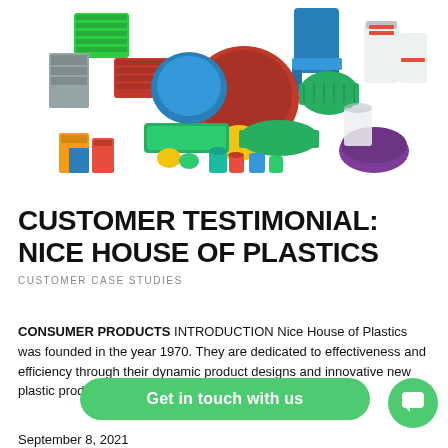[Figure (photo): Assorted colorful plastic consumer products including chairs, baskets, containers, bowls, plates, and household items arranged in a display pile on white background]
CUSTOMER TESTIMONIAL: NICE HOUSE OF PLASTICS
CUSTOMER CASE STUDIES
CONSUMER PRODUCTS  INTRODUCTION Nice House of Plastics was founded in the year 1970. They are dedicated to effectiveness and efficiency through their dynamic product designs and innovative new plastic products that continu…
September 8, 2021